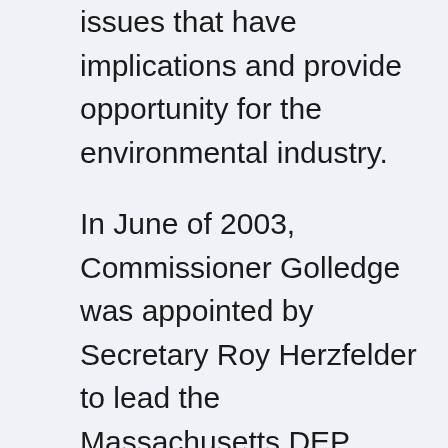issues that have implications and provide opportunity for the environmental industry.
In June of 2003, Commissioner Golledge was appointed by Secretary Roy Herzfelder to lead the Massachusetts DEP. Make plans now to attend this breakfast meeting, almost a year to the day since he last spoke to the EBC. Learn about the Commissioner's successes over the past 12 months and about his programs and priorities for the future. Gain insight into issues that have